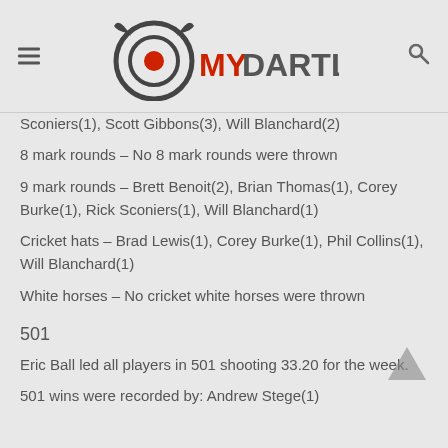MY DART LEAGUE
Sconiers(1), Scott Gibbons(3), Will Blanchard(2)
8 mark rounds – No 8 mark rounds were thrown
9 mark rounds – Brett Benoit(2), Brian Thomas(1), Corey Burke(1), Rick Sconiers(1), Will Blanchard(1)
Cricket hats – Brad Lewis(1), Corey Burke(1), Phil Collins(1), Will Blanchard(1)
White horses – No cricket white horses were thrown
501
Eric Ball led all players in 501 shooting 33.20 for the week.
501 wins were recorded by: Andrew Stege(1)